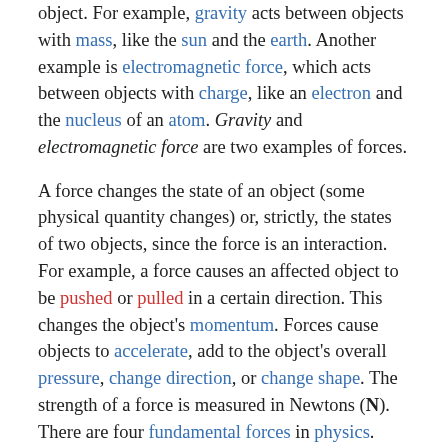object. For example, gravity acts between objects with mass, like the sun and the earth. Another example is electromagnetic force, which acts between objects with charge, like an electron and the nucleus of an atom. Gravity and electromagnetic force are two examples of forces.
A force changes the state of an object (some physical quantity changes) or, strictly, the states of two objects, since the force is an interaction. For example, a force causes an affected object to be pushed or pulled in a certain direction. This changes the object's momentum. Forces cause objects to accelerate, add to the object's overall pressure, change direction, or change shape. The strength of a force is measured in Newtons (N). There are four fundamental forces in physics.
A force is always a push, pull, or a twist, and it affects